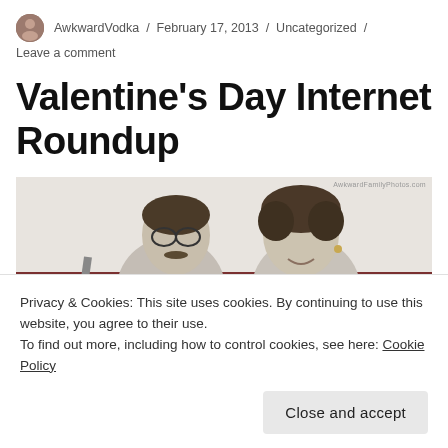AwkwardVodka / February 17, 2013 / Uncategorized / Leave a comment
Valentine's Day Internet Roundup
[Figure (photo): Black and white photo of a man and woman sitting on a couch together. The man wears glasses. A watermark reading 'AwkwardFamilyPhotos.com' appears in the top right corner.]
Privacy & Cookies: This site uses cookies. By continuing to use this website, you agree to their use.
To find out more, including how to control cookies, see here: Cookie Policy
Close and accept